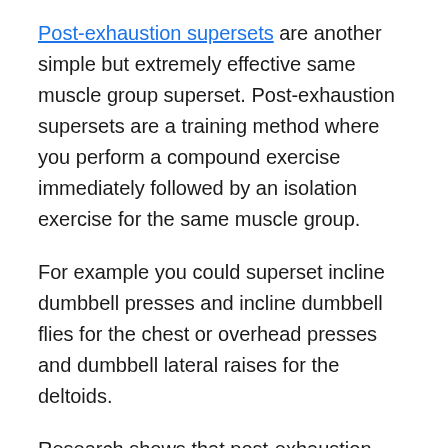Post-exhaustion supersets are another simple but extremely effective same muscle group superset. Post-exhaustion supersets are a training method where you perform a compound exercise immediately followed by an isolation exercise for the same muscle group.
For example you could superset incline dumbbell presses and incline dumbbell flies for the chest or overhead presses and dumbbell lateral raises for the deltoids.
Research shows that post-exhaustion supersets are even more effective than pre-exhaustion supersets for building muscle mass. You can recruit the high-threshold motor units first in your routine with the compound exercise and then further fatigue the muscle